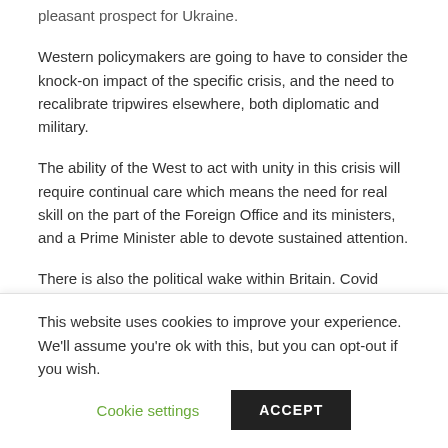pleasant prospect for Ukraine.
Western policymakers are going to have to consider the knock-on impact of the specific crisis, and the need to recalibrate tripwires elsewhere, both diplomatic and military.
The ability of the West to act with unity in this crisis will require continual care which means the need for real skill on the part of the Foreign Office and its ministers, and a Prime Minister able to devote sustained attention.
There is also the political wake within Britain. Covid costs and attention hit hard at this government, forcing the jettisoning of projects, such as the Yorkshire spur of
This website uses cookies to improve your experience. We'll assume you're ok with this, but you can opt-out if you wish.
Cookie settings
ACCEPT